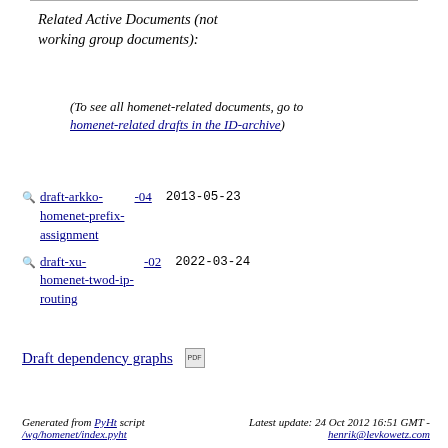Related Active Documents (not working group documents):
(To see all homenet-related documents, go to homenet-related drafts in the ID-archive)
draft-arkko-homenet-prefix-assignment -04 2013-05-23
draft-xu-homenet-twod-ip-routing -02 2022-03-24
Draft dependency graphs [PDF icon]
Generated from PyHt script /wg/homenet/index.pyht    Latest update: 24 Oct 2012 16:51 GMT - henrik@levkowetz.com